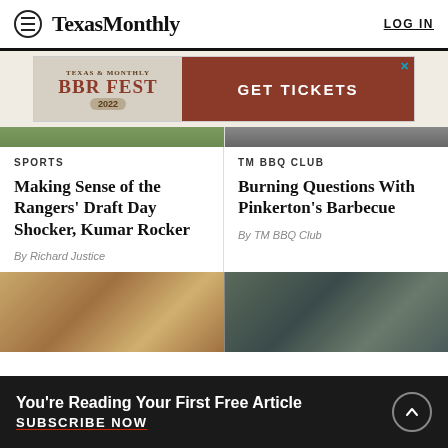Texas Monthly — LOG IN
[Figure (other): Texas Monthly BBQ Fest 2022 advertisement banner with GET TICKETS button]
SPORTS
Making Sense of the Rangers' Draft Day Shocker, Kumar Rocker
By Richard Justice
TM BBQ CLUB
Burning Questions With Pinkerton's Barbecue
By TM BBQ Club
[Figure (photo): Photo of food/BBQ items on left, photo of military personnel in uniform on right]
You're Reading Your First Free Article
SUBSCRIBE NOW